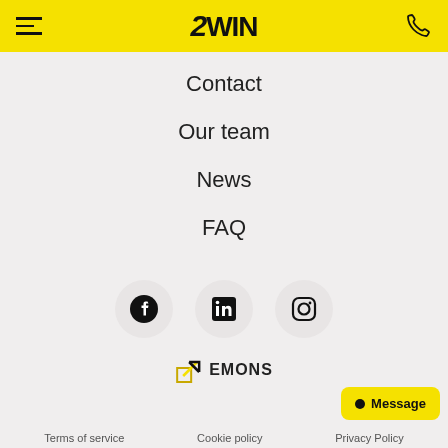2WIN navigation header with hamburger menu and phone icon
Contact
Our team
News
FAQ
[Figure (logo): Social media icons row: Facebook, LinkedIn, Instagram]
[Figure (logo): Lemons logo with upward arrow icon]
Terms of service   Cookie policy   Privacy Policy